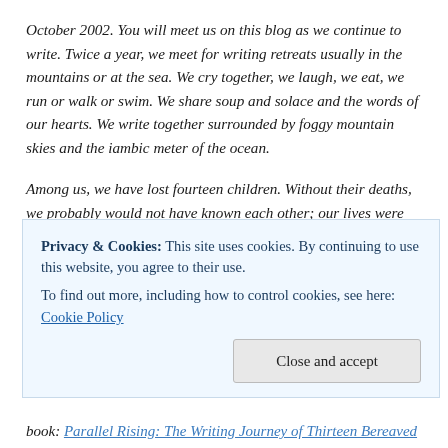October 2002. You will meet us on this blog as we continue to write. Twice a year, we meet for writing retreats usually in the mountains or at the sea. We cry together, we laugh, we eat, we run or walk or swim. We share soup and solace and the words of our hearts. We write together surrounded by foggy mountain skies and the iambic meter of the ocean.
Among us, we have lost fourteen children. Without their deaths, we probably would not have known each other; our lives were disparate (and maybe desperate too), yet we have found so much help  as we have continued to write. We have found some solace in writing about and sharing our journeys. Now, we have also lost one of our sisters: Scharme Shown died on July 8, 2020. We remembered some of our time together here
Privacy & Cookies: This site uses cookies. By continuing to use this website, you agree to their use.
To find out more, including how to control cookies, see here: Cookie Policy
Close and accept
book: Parallel Rising: The Writing Journey of Thirteen Bereaved